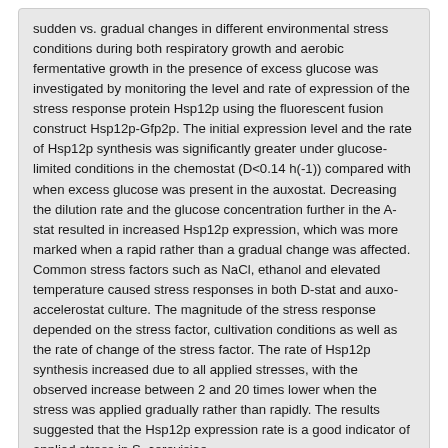sudden vs. gradual changes in different environmental stress conditions during both respiratory growth and aerobic fermentative growth in the presence of excess glucose was investigated by monitoring the level and rate of expression of the stress response protein Hsp12p using the fluorescent fusion construct Hsp12p-Gfp2p. The initial expression level and the rate of Hsp12p synthesis was significantly greater under glucose-limited conditions in the chemostat (D<0.14 h(-1)) compared with when excess glucose was present in the auxostat. Decreasing the dilution rate and the glucose concentration further in the A-stat resulted in increased Hsp12p expression, which was more marked when a rapid rather than a gradual change was affected. Common stress factors such as NaCl, ethanol and elevated temperature caused stress responses in both D-stat and auxo-accelerostat culture. The magnitude of the stress response depended on the stress factor, cultivation conditions as well as the rate of change of the stress factor. The rate of Hsp12p synthesis increased due to all applied stresses, with the observed increase between 2 and 20 times lower when the stress was applied gradually rather than rapidly. The results suggested that the Hsp12p expression rate is a good indicator of applied stress in S. cerevisiae.
Links